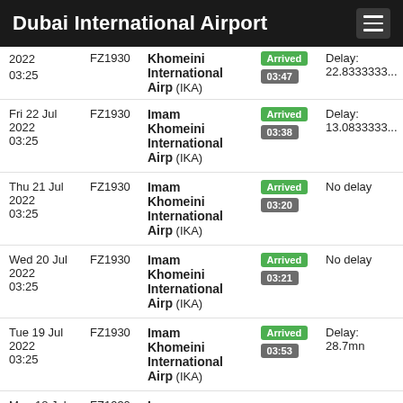Dubai International Airport
| Date | Flight | Destination | Status | Delay |
| --- | --- | --- | --- | --- |
| 2022 03:25 | FZ1930 | Imam Khomeini International Airp (IKA) | Arrived 03:47 | Delay: 22.8333333... |
| Fri 22 Jul 2022 03:25 | FZ1930 | Imam Khomeini International Airp (IKA) | Arrived 03:38 | Delay: 13.0833333... |
| Thu 21 Jul 2022 03:25 | FZ1930 | Imam Khomeini International Airp (IKA) | Arrived 03:20 | No delay |
| Wed 20 Jul 2022 03:25 | FZ1930 | Imam Khomeini International Airp (IKA) | Arrived 03:21 | No delay |
| Tue 19 Jul 2022 03:25 | FZ1930 | Imam Khomeini International Airp (IKA) | Arrived 03:53 | Delay: 28.7mn |
| Mon 18 Jul | FZ1930 | Imam ... |  |  |